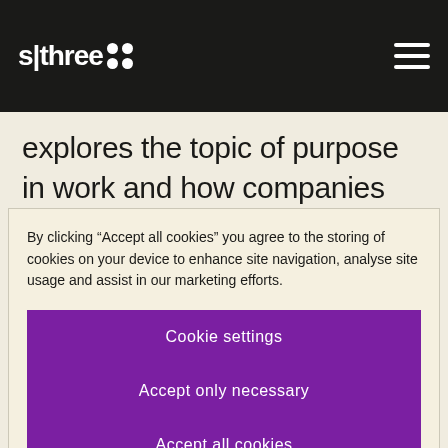s|three
explores the topic of purpose in work and how companies can provide meaning to the work they do.
By clicking “Accept all cookies” you agree to the storing of cookies on your device to enhance site navigation, analyse site usage and assist in our marketing efforts.
Cookie settings
Accept only necessary
Accept all cookies